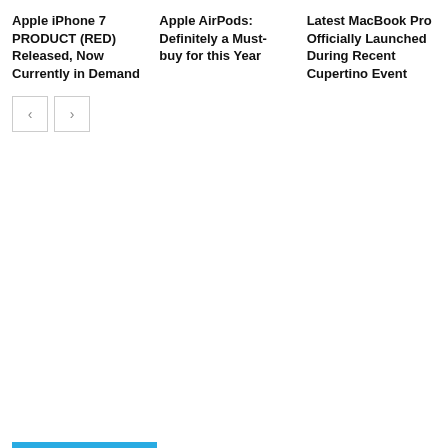Apple iPhone 7 PRODUCT (RED) Released, Now Currently in Demand
Apple AirPods: Definitely a Must-buy for this Year
Latest MacBook Pro Officially Launched During Recent Cupertino Event
[Figure (other): Navigation previous and next arrow buttons]